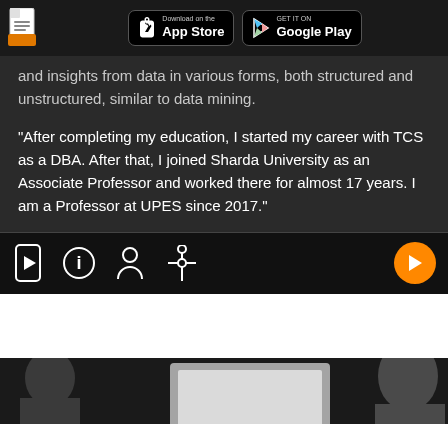[Figure (screenshot): App store header bar with document icon, App Store and Google Play download buttons on dark background]
and insights from data in various forms, both structured and unstructured, similar to data mining.
"After completing my education, I started my career with TCS as a DBA. After that, I joined Sharda University as an Associate Professor and worked there for almost 17 years. I am a Professor at UPES since 2017."
[Figure (screenshot): Dark toolbar with phone, info, person, adjustment icons on left and orange play button on right]
[Figure (photo): Partial bottom image showing a person and laptop/tablet screen partially visible]